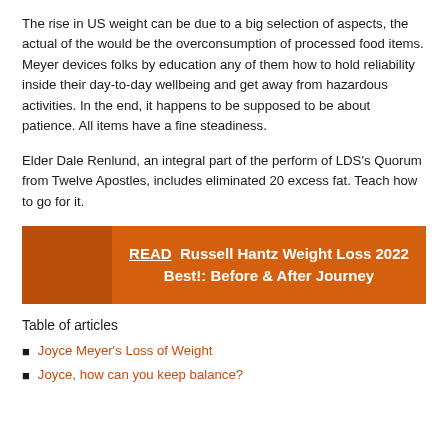The rise in US weight can be due to a big selection of aspects, the actual of the would be the overconsumption of processed food items. Meyer devices folks by education any of them how to hold reliability inside their day-to-day wellbeing and get away from hazardous activities. In the end, it happens to be supposed to be about patience. All items have a fine steadiness.
Elder Dale Renlund, an integral part of the perform of LDS's Quorum from Twelve Apostles, includes eliminated 20 excess fat. Teach how to go for it.
[Figure (infographic): Orange banner with darker orange left panel and text reading 'READ Russell Hantz Weight Loss 2022 Best!: Before & After Journey']
Table of articles
Joyce Meyer's Loss of Weight
Joyce, how can you keep balance?